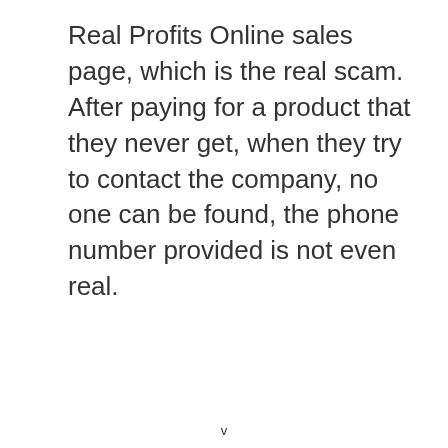Real Profits Online sales page, which is the real scam. After paying for a product that they never get, when they try to contact the company, no one can be found, the phone number provided is not even real.
v